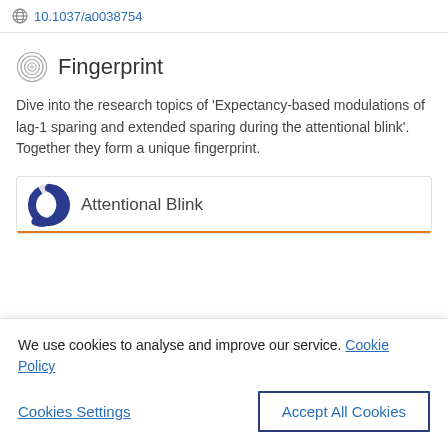10.1037/a0038754
Fingerprint
Dive into the research topics of 'Expectancy-based modulations of lag-1 sparing and extended sparing during the attentional blink'. Together they form a unique fingerprint.
Attentional Blink
We use cookies to analyse and improve our service. Cookie Policy
Cookies Settings
Accept All Cookies